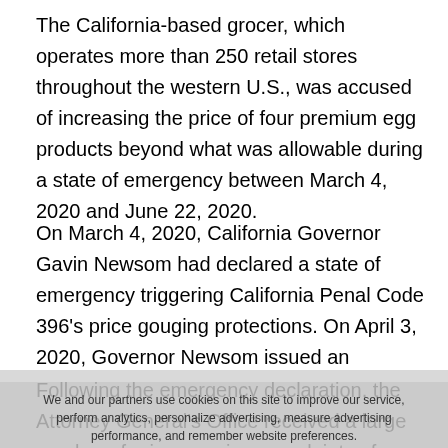The California-based grocer, which operates more than 250 retail stores throughout the western U.S., was accused of increasing the price of four premium egg products beyond what was allowable during a state of emergency between March 4, 2020 and June 22, 2020.
On March 4, 2020, California Governor Gavin Newsom had declared a state of emergency triggering California Penal Code 396's price gouging protections. On April 3, 2020, Governor Newsom issued an executive order extending price gouging protections for an additional five months.
Following the emergency declaration, the Attorney General's Office received a large number of price-gouging complaints of dramatic increases in the retail price of eggs, many of which were related specifically to price spikes at Smart & Final stores